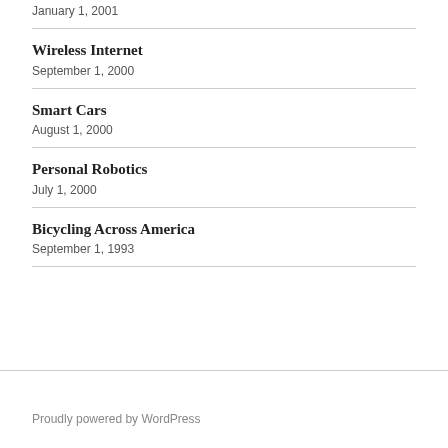January 1, 2001
Wireless Internet
September 1, 2000
Smart Cars
August 1, 2000
Personal Robotics
July 1, 2000
Bicycling Across America
September 1, 1993
Proudly powered by WordPress